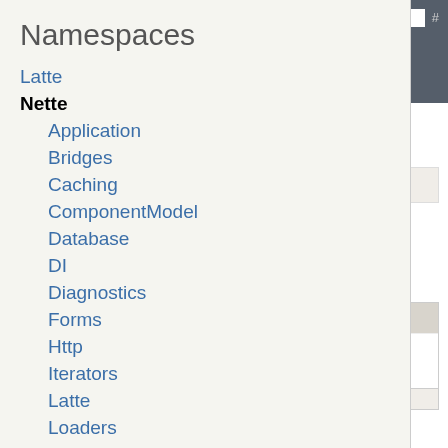Namespaces
Latte
Nette
Application
Bridges
Caching
ComponentModel
Database
DI
Diagnostics
Forms
Http
Iterators
Latte
Loaders
Localization
Mail
Neon
PhpGenerator
Overview  Namespace  Tree  Deprecated
Class Envi…
Nette environment and c…
Namespace: Nette
Deprecated
Located at deprecated/E…
Methods summary